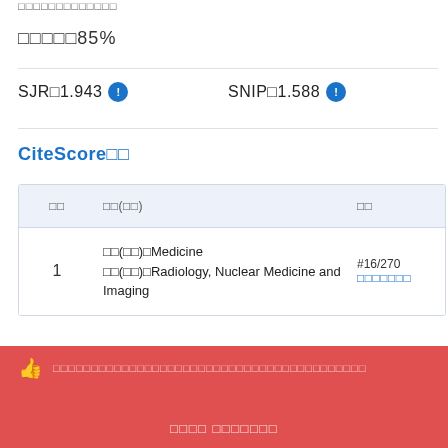□□□□□□□□□□□□□
□□□□□85%
SJR□1.943  SNIP□1.588
CiteScore□□
| □□ | □□(□□) | □□ |
| --- | --- | --- |
| 1 | □□(□□)□Medicine
□□(□□)□Radiology, Nuclear Medicine and Imaging | #16/27□□
□□□□□□□ |
□□□□□□□□□□□□□□□□□□□□□□□□□□□□□□□□□□□□□□□□□□□□□□□□□□
□□□□ □□□□□□□